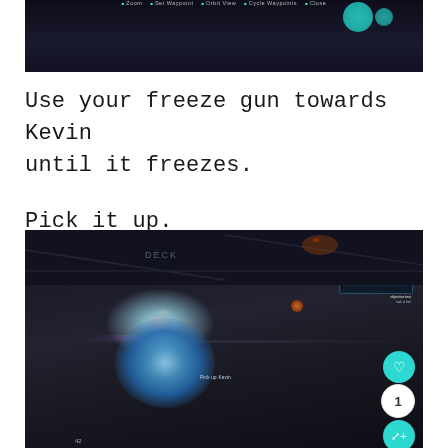[Figure (screenshot): Top game screenshot showing a dark sci-fi map/navigation screen with teal circular elements and HUD options: Zoom, Set Waypoint, Orbit View, Cycle Waypoints, Close]
Use your freeze gun towards Kevin until it freezes.
Pick it up.
[Figure (screenshot): Game screenshot showing a frozen blue glowing entity on a dark sci-fi ship deck. A 'Pick up Kevin' label is visible. In the top right is a small tactical screen. On the right side are interactive UI elements: a teal heart button, a white circle with '1', and a teal share button. Bottom shows '42' page indicator.]